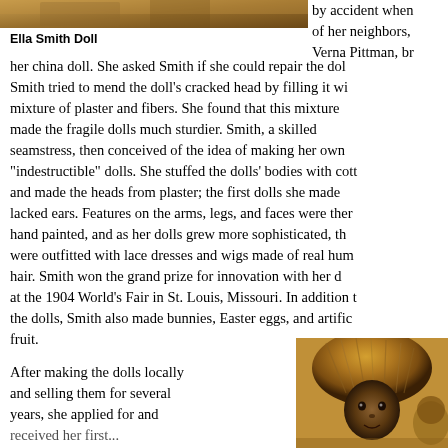[Figure (photo): Top portion of an Ella Smith Doll photograph, sepia/golden toned, cropped at top of page]
Ella Smith Doll
by accident when of her neighbors, Verna Pittman, br her china doll. She asked Smith if she could repair the dol Smith tried to mend the doll's cracked head by filling it wi mixture of plaster and fibers. She found that this mixture made the fragile dolls much sturdier. Smith, a skilled seamstress, then conceived of the idea of making her own "indestructible" dolls. She stuffed the dolls' bodies with cott and made the heads from plaster; the first dolls she made lacked ears. Features on the arms, legs, and faces were ther hand painted, and as her dolls grew more sophisticated, th were outfitted with lace dresses and wigs made of real hum hair. Smith won the grand prize for innovation with her d at the 1904 World's Fair in St. Louis, Missouri. In addition t the dolls, Smith also made bunnies, Easter eggs, and artific fruit.
After making the dolls locally and selling them for several years, she applied for and
[Figure (photo): Photograph of an Ella Smith Doll, showing a doll with textured/straw-like hair, golden toned, bottom right of page]